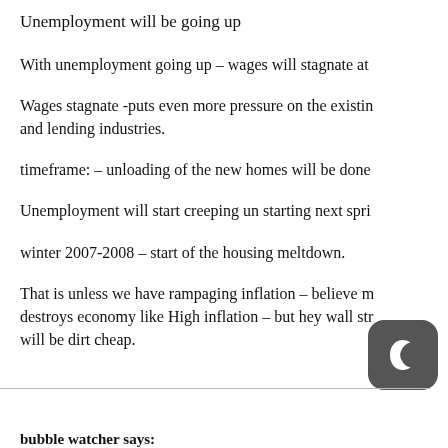Unemployment will be going up
With unemployment going up – wages will stagnate at
Wages stagnate -puts even more pressure on the existing and lending industries.
timeframe: – unloading of the new homes will be done
Unemployment will start creeping un starting next spring
winter 2007-2008 – start of the housing meltdown.
That is unless we have rampaging inflation – believe m destroys economy like High inflation – but hey wall str will be dirt cheap.
bubble watcher says: